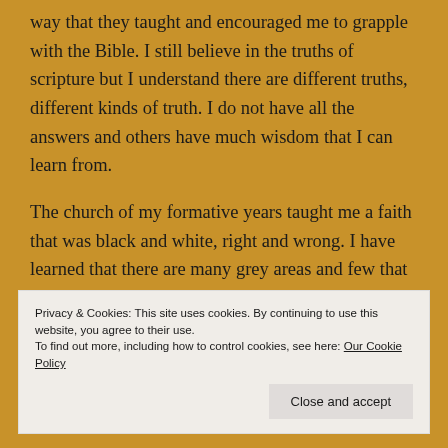way that they taught and encouraged me to grapple with the Bible. I still believe in the truths of scripture but I understand there are different truths, different kinds of truth. I do not have all the answers and others have much wisdom that I can learn from.
The church of my formative years taught me a faith that was black and white, right and wrong. I have learned that there are many grey areas and few that are clear cut. I have discovered much more colour to genuine faith. I love learning from people of other Christian
Privacy & Cookies: This site uses cookies. By continuing to use this website, you agree to their use.
To find out more, including how to control cookies, see here: Our Cookie Policy
as Father, Son and Holy Spirit. I love to learn from and of